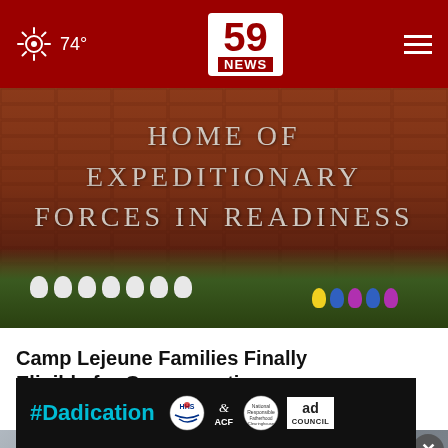74° | 59 NEWS
[Figure (photo): Brick wall sign reading HOME OF EXPEDITIONARY FORCES IN READINESS with white flower tributes and colorful wreaths at the base]
Camp Lejeune Families Finally Eligible for Compensation
camplejeunel awsuitsettlement.c
[Figure (photo): Close-up of person sweeping or working with a broom on pavement]
[Figure (infographic): #Dadication advertisement banner with HHS, ACF, National Responsible Fatherhood Clearinghouse, and Ad Council logos]